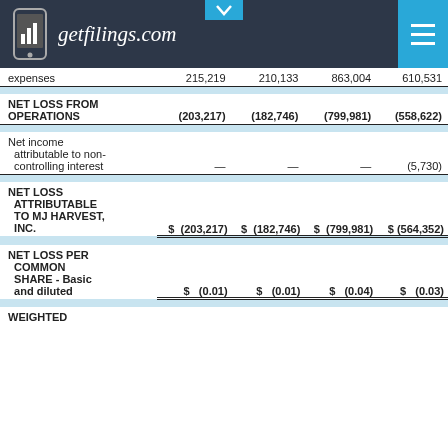getfilings.com
|  |  |  |  |  |
| --- | --- | --- | --- | --- |
| expenses | 215,219 | 210,133 | 863,004 | 610,531 |
| NET LOSS FROM OPERATIONS | (203,217) | (182,746) | (799,981) | (558,622) |
| Net income attributable to non-controlling interest | — | — | — | (5,730) |
| NET LOSS ATTRIBUTABLE TO MJ HARVEST, INC. | $ (203,217) | $ (182,746) | $ (799,981) | $ (564,352) |
| NET LOSS PER COMMON SHARE - Basic and diluted | $ (0.01) | $ (0.01) | $ (0.04) | $ (0.03) |
| WEIGHTED |  |  |  |  |